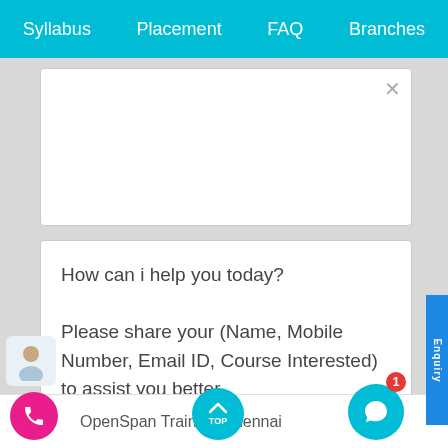Syllabus  Placement  FAQ  Branches
How can i help you today?

Please share your (Name, Mobile Number, Email ID, Course Interested) to assist you better.
Sophia    just now
OpenSpan Training Chennai